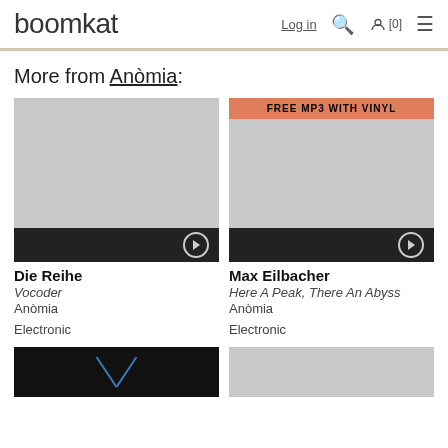boomkat  Log in  [0]
More from Anòmia:
[Figure (photo): Album artwork placeholder (gray square) for Die Reihe – Vocoder with play button bar at bottom]
Die Reihe
Vocoder
Anòmia
Electronic
[Figure (photo): Album artwork placeholder (gray square) for Max Eilbacher – Here A Peak, There An Abyss with FREE MP3 WITH VINYL banner and play button bar at bottom]
Max Eilbacher
Here A Peak, There An Abyss
Anòmia
Electronic
[Figure (photo): Partially visible dark album artwork at bottom of page]
[Figure (photo): Partially visible gray album artwork at bottom of page]